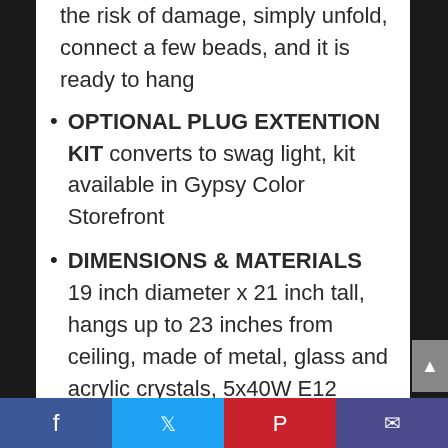the risk of damage, simply unfold, connect a few beads, and it is ready to hang
OPTIONAL PLUG EXTENTION KIT converts to swag light, kit available in Gypsy Color Storefront
DIMENSIONS & MATERIALS 19 inch diameter x 21 inch tall, hangs up to 23 inches from ceiling, made of metal, glass and acrylic crystals, 5x40W E12 bulbs not included
Our Verdict